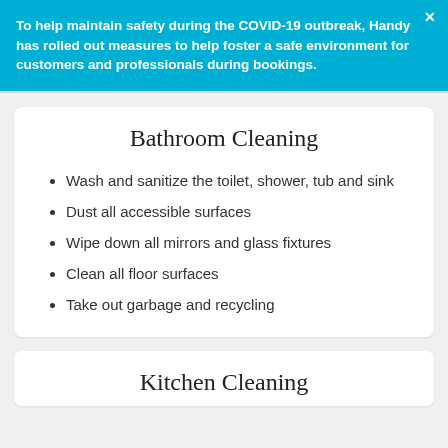To help maintain safety during the COVID-19 outbreak, Handy has rolled out measures to help foster a safe environment for customers and professionals during bookings.
Bathroom Cleaning
Wash and sanitize the toilet, shower, tub and sink
Dust all accessible surfaces
Wipe down all mirrors and glass fixtures
Clean all floor surfaces
Take out garbage and recycling
Kitchen Cleaning